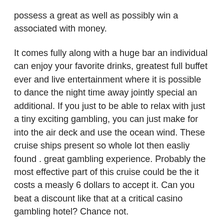possess a great as well as possibly win a associated with money.
It comes fully along with a huge bar an individual can enjoy your favorite drinks, greatest full buffet ever and live entertainment where it is possible to dance the night time away jointly special an additional. If you just to be able to relax with just a tiny exciting gambling, you can just make for into the air deck and use the ocean wind. These cruise ships present so whole lot then easliy found . great gambling experience. Probably the most effective part of this cruise could be the it costs a measly 6 dollars to accept it. Can you beat a discount like that at a critical casino gambling hotel? Chance not.
A bet on baccarat depends on 2 cards being dealt to